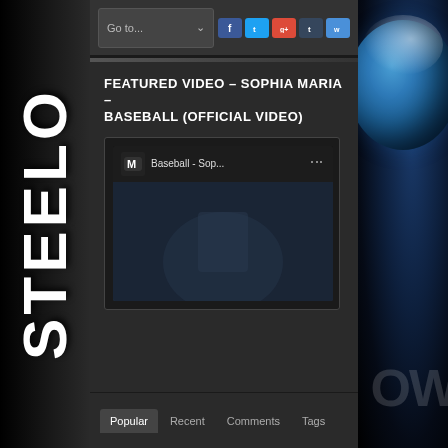[Figure (screenshot): Website screenshot showing a dark-themed music blog. Left sidebar displays 'STEELO' vertically in large white bold text against dark/space background. Right sidebar shows Earth from space graphic with partial 'OW' text. Main content area shows navigation bar with 'Go to...' dropdown and social media icons (Facebook, Twitter, Google+, Tumblr, another icon).]
FEATURED VIDEO – SOPHIA MARIA – BASEBALL (OFFICIAL VIDEO)
[Figure (screenshot): YouTube video embed showing 'Baseball - Sop...' by M Chi Music label. Dark thumbnail with LEGO-style baseball player figure. Red YouTube play button centered on video. Three-dot menu icon visible in top right of video player.]
Popular	Recent	Comments	Tags